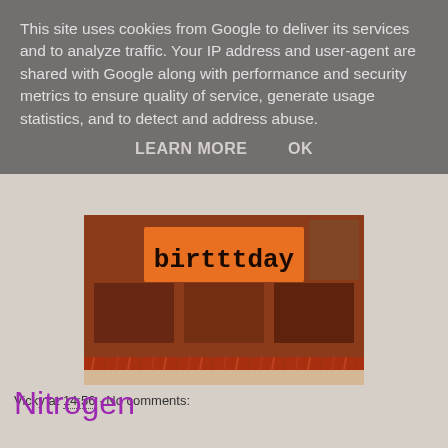This site uses cookies from Google to deliver its services and to analyze traffic. Your IP address and user-agent are shared with Google along with performance and security metrics to ensure quality of service, generate usage statistics, and to detect and address abuse.
LEARN MORE    OK
[Figure (photo): A birthday card/banner with orange background reading 'birthday' in handwritten text, with decorative stamps and fringed edge at bottom]
Vicky at 14:56 · No comments:
Share
Nitrogen